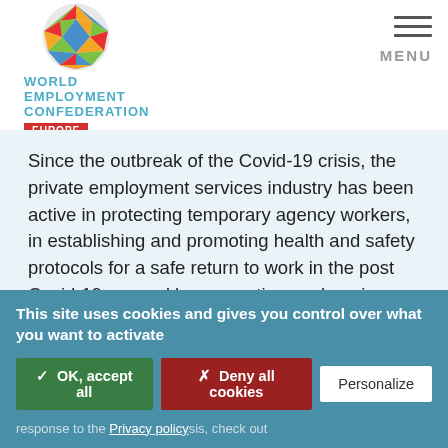[Figure (logo): World Employment Confederation Europe logo with colorful globe icon and teal text]
Since the outbreak of the Covid-19 crisis, the private employment services industry has been active in protecting temporary agency workers, in establishing and promoting health and safety protocols for a safe return to work in the post Covid-19 era and by supporting workers in managing labour market transitions, moving from declining sectors to sectors in high demand
This site uses cookies and gives you control over what you want to activate
✓ OK, accept all   ✗ Deny all cookies   Personalize
private employment services industry's response to the Privacy policy sis, check out